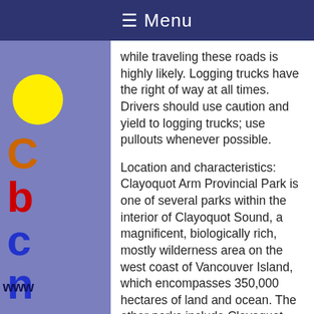☰ Menu
while traveling these roads is highly likely. Logging trucks have the right of way at all times. Drivers should use caution and yield to logging trucks; use pullouts whenever possible.
Location and characteristics: Clayoquot Arm Provincial Park is one of several parks within the interior of Clayoquot Sound, a magnificent, biologically rich, mostly wilderness area on the west coast of Vancouver Island, which encompasses 350,000 hectares of land and ocean. The other parks include Clayoquot Plateau Provincial Park, Clayoquot Lake, Kennedy River Bog, Kennedy Lake, Tranquil Creek's headwaters, Hesquiat Lake, plus several